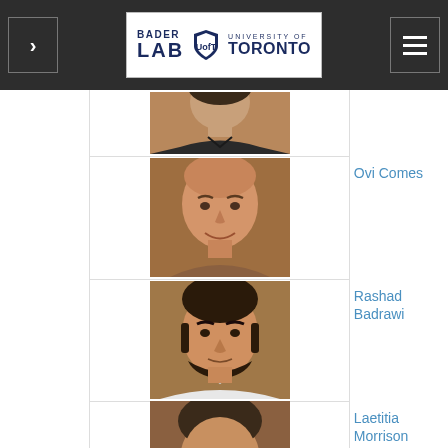Bader Lab — University of Toronto navigation header
[Figure (photo): Headshot of a man in a dark shirt (top of head cropped), row 1]
[Figure (photo): Headshot of a bald man smiling, wearing brown shirt — Ovi Comes]
Ovi Comes
[Figure (photo): Headshot of a man with dark hair and beard wearing a white shirt — Rashad Badrawi]
Rashad Badrawi
[Figure (photo): Partial headshot of a man — Laetitia Morrison]
Laetitia Morrison